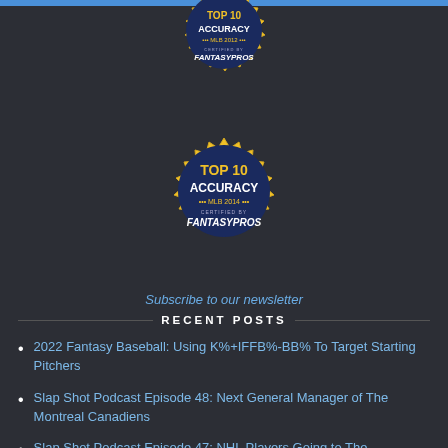[Figure (logo): FantasyPros Top 10 Accuracy MLB 2012 gold badge/seal]
[Figure (logo): FantasyPros Top 10 Accuracy MLB 2014 gold badge/seal]
Subscribe to our newsletter
RECENT POSTS
2022 Fantasy Baseball: Using K%+IFFB%-BB% To Target Starting Pitchers
Slap Shot Podcast Episode 48: Next General Manager of The Montreal Canadiens
Slap Shot Podcast Episode 47: NHL Players Going to The